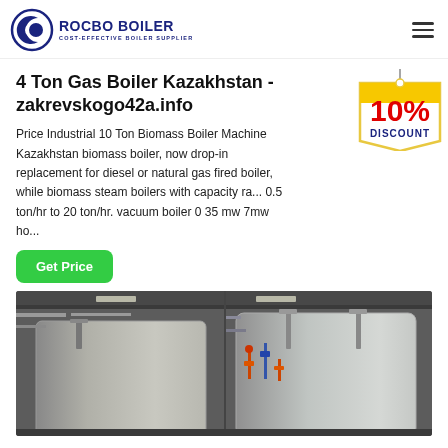[Figure (logo): Rocbo Boiler logo with circular C and crescent icon, text ROCBO BOILER COST-EFFECTIVE BOILER SUPPLIER in dark blue]
4 Ton Gas Boiler Kazakhstan - zakrevskogo42a.info
Price Industrial 10 Ton Biomass Boiler Machine Kazakhstan biomass boiler, now drop-in replacement for diesel or natural gas fired boiler, while biomass steam boilers with capacity ra... 0.5 ton/hr to 20 ton/hr. vacuum boiler 0 35 mw 7mw ho...
[Figure (infographic): 10% DISCOUNT badge in red and yellow hanging tag style]
[Figure (photo): Industrial gas boiler equipment photo, two boilers side by side in a factory/warehouse setting with pipes and fittings visible]